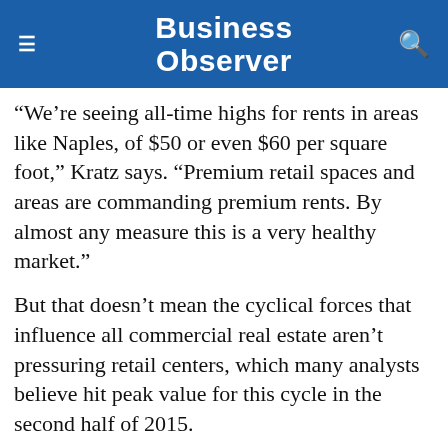Business Observer
“We’re seeing all-time highs for rents in areas like Naples, of $50 or even $60 per square foot,” Kratz says. “Premium retail spaces and areas are commanding premium rents. By almost any measure this is a very healthy market.”
But that doesn’t mean the cyclical forces that influence all commercial real estate aren’t pressuring retail centers, which many analysts believe hit peak value for this cycle in the second half of 2015.
“Buyers, consumers, still want to shop,” Kratz says.